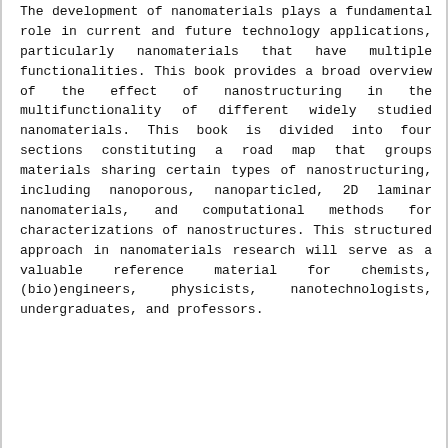The development of nanomaterials plays a fundamental role in current and future technology applications, particularly nanomaterials that have multiple functionalities. This book provides a broad overview of the effect of nanostructuring in the multifunctionality of different widely studied nanomaterials. This book is divided into four sections constituting a road map that groups materials sharing certain types of nanostructuring, including nanoporous, nanoparticled, 2D laminar nanomaterials, and computational methods for characterizations of nanostructures. This structured approach in nanomaterials research will serve as a valuable reference material for chemists, (bio)engineers, physicists, nanotechnologists, undergraduates, and professors.